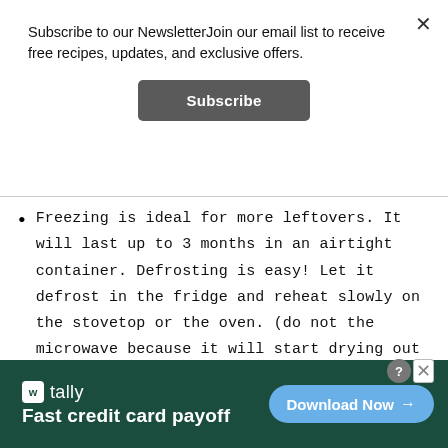Subscribe to our NewsletterJoin our email list to receive free recipes, updates, and exclusive offers.
Subscribe
Freezing is ideal for more leftovers. It will last up to 3 months in an airtight container. Defrosting is easy! Let it defrost in the fridge and reheat slowly on the stovetop or the oven. (do not the microwave because it will start drying out the meat.)
tally Fast credit card payoff Download Now →